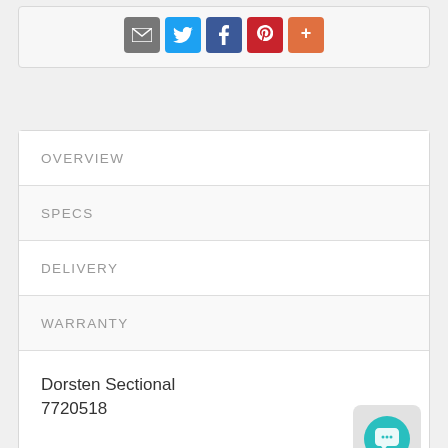[Figure (other): Social sharing icons: email (grey), Twitter (blue), Facebook (dark blue), Pinterest (red), More (orange)]
OVERVIEW
SPECS
DELIVERY
WARRANTY
Dorsten Sectional
7720518